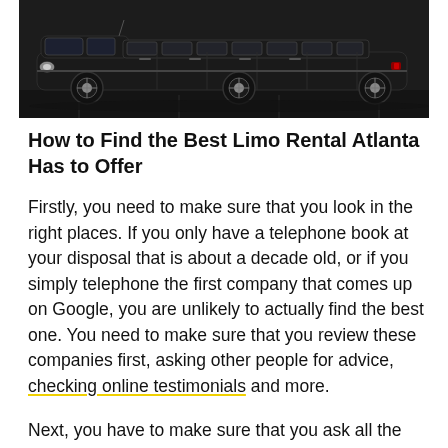[Figure (photo): A long black stretch limousine photographed from the side in a parking area, seen from a slightly elevated angle.]
How to Find the Best Limo Rental Atlanta Has to Offer
Firstly, you need to make sure that you look in the right places. If you only have a telephone book at your disposal that is about a decade old, or if you simply telephone the first company that comes up on Google, you are unlikely to actually find the best one. You need to make sure that you review these companies first, asking other people for advice, checking online testimonials and more.
Next, you have to make sure that you ask all the right questions. You should, through the above